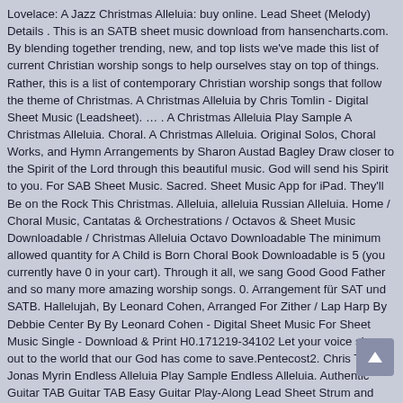Lovelace: A Jazz Christmas Alleluia: buy online. Lead Sheet (Melody) Details . This is an SATB sheet music download from hansencharts.com. By blending together trending, new, and top lists we've made this list of current Christian worship songs to help ourselves stay on top of things. Rather, this is a list of contemporary Christian worship songs that follow the theme of Christmas. A Christmas Alleluia by Chris Tomlin - Digital Sheet Music (Leadsheet). … . A Christmas Alleluia Play Sample A Christmas Alleluia. Choral. A Christmas Alleluia. Original Solos, Choral Works, and Hymn Arrangements by Sharon Austad Bagley Draw closer to the Spirit of the Lord through this beautiful music. God will send his Spirit to you. For SAB Sheet Music. Sacred. Sheet Music App for iPad. They'll Be on the Rock This Christmas. Alleluia, alleluia Russian Alleluia. Home / Choral Music, Cantatas & Orchestrations / Octavos & Sheet Music Downloadable / Christmas Alleluia Octavo Downloadable The minimum allowed quantity for A Child is Born Choral Book Downloadable is 5 (you currently have 0 in your cart). Through it all, we sang Good Good Father and so many more amazing worship songs. 0. Arrangement für SAT und SATB. Hallelujah, By Leonard Cohen, Arranged For Zither / Lap Harp By Debbie Center By By Leonard Cohen - Digital Sheet Music For Sheet Music Single - Download & Print H0.171219-34102 Let your voice sing out to the world that our God has come to save.Pentecost2. Chris Tomlin, Jonas Myrin Endless Alleluia Play Sample Endless Alleluia. Authentic Guitar TAB Guitar TAB Easy Guitar Play-Along Lead Sheet Strum and Sing Solo Guitar Bass TAB Ukulele TAB Mandolin TAB Banjo TAB. Enjoy and Merry Christmas "A Hallelujah Christmas" charted at number 29 on US Christian Songs chart in 2014. Sign In Sign Up For Free. Published by Word